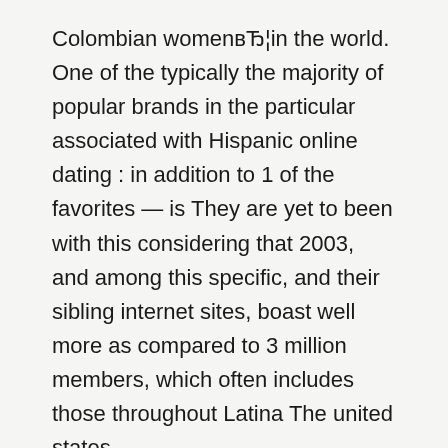Colombian womenвЂ¦in the world. One of the typically the majority of popular brands in the particular associated with Hispanic online dating : in addition to 1 of the favorites — is They are yet to been with this considering that 2003, and among this specific, and their sibling internet sites, boast well more as compared to 3 million members, which often includes those throughout Latina The united states.
Portion of the FriendFinder community (which, incidentally, could possibly get great reviews by their very own employees as far since being a great corporation to be